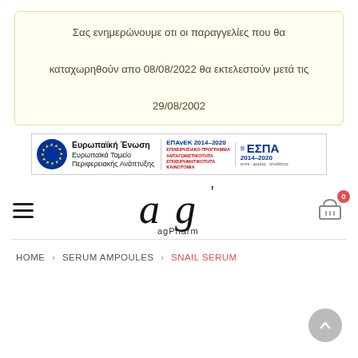Σας ενημερώνουμε οτι οι παραγγελίες που θα καταχωρηθούν απο 08/08/2022 θα εκτελεστούν μετά τις 29/08/2002
[Figure (logo): EU banner: Ευρωπαϊκή Ένωση / Ευρωπαϊκά Ταμείο Περιφερειακής Ανάπτυξης, ΕΠΑνΕΚ 2014-2020, ΕΣΠΑ 2014-2020]
[Figure (logo): agPharm logo - stylized lowercase 'ag' lettering with agPharm text below]
HOME > SERUM AMPOULES > SNAIL SERUM